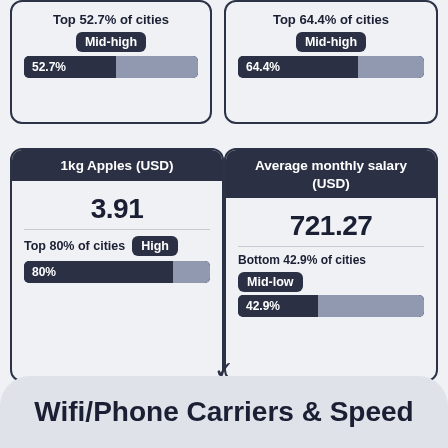[Figure (infographic): Card showing Top 52.7% of cities, Mid-high badge, 52.7% progress bar]
[Figure (infographic): Card showing Top 64.4% of cities, Mid-high badge, 64.4% progress bar]
[Figure (infographic): Card showing 1kg Apples (USD) = 3.91, Top 80% of cities, High badge, 80% progress bar]
[Figure (infographic): Card showing Average monthly salary (USD) = 721.27, Bottom 42.9% of cities, Mid-low badge, 42.9% progress bar]
Wifi/Phone Carriers & Speed